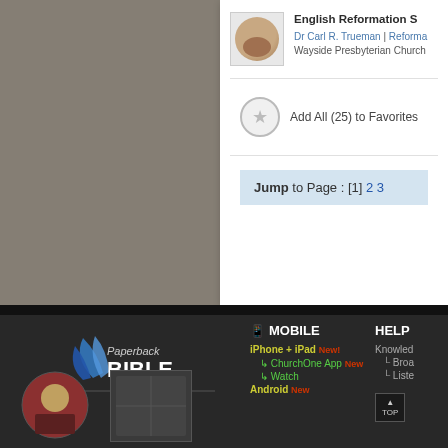English Reformation S...
Dr Carl R. Trueman | Reforma...
Wayside Presbyterian Church
Add All (25) to Favorites
Jump to Page : [1] 2 3
SA UPDATES NEWSLETTER
Sign up for a weekly dose of personal thou...
SIGN UP
[Figure (logo): Paperback Bible logo with blue wing graphic and text]
MOBILE
iPhone + iPad New
ChurchOne App New
Watch
Android New
HELP
Knowledg...
Broa...
Liste...